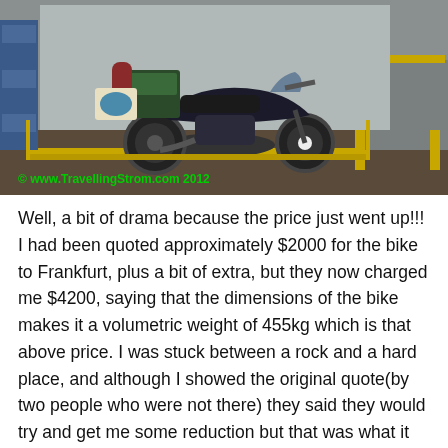[Figure (photo): A motorcycle loaded with luggage and gear sitting on a platform/scale inside what appears to be a freight or shipping facility. The bike is dark colored with bags and a rolled sleeping mat strapped to it. Yellow industrial equipment and blue shelving visible in background. Watermark reads: © www.TravellingStrom.com 2012]
Well, a bit of drama because the price just went up!!! I had been quoted approximately $2000 for the bike to Frankfurt, plus a bit of extra, but they now charged me $4200, saying that the dimensions of the bike makes it a volumetric weight of 455kg which is that above price. I was stuck between a rock and a hard place, and although I showed the original quote(by two people who were not there) they said they would try and get me some reduction but that was what it was going to cost!!! I was on a tight